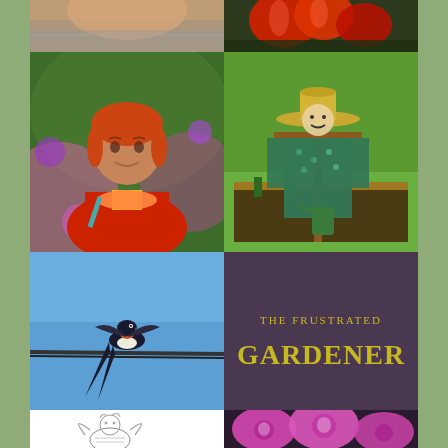[Figure (photo): Top-left: Close-up of a person's face/head, partially cropped]
[Figure (photo): Top-right: Red tulip flowers close-up]
[Figure (photo): Middle-left: Woman with red hair wearing red cardigan and pink scarf, standing in garden with flowers]
[Figure (photo): Middle-right: Garden scarecrow in teal/green patterned clothing with straw hat, in a raised vegetable bed]
[Figure (photo): Lower-middle-left: Swallow bird perched on a wire against blue sky]
[Figure (illustration): Lower-middle-right: 'THE FRUSTRATED GARDENER' text logo in yellow on dark purple/plum background]
[Figure (illustration): Bottom-left: Pencil sketch illustration of a fairy/cherub with wings]
[Figure (photo): Bottom-right: Close-up of pink foxglove flowers (Digitalis)]